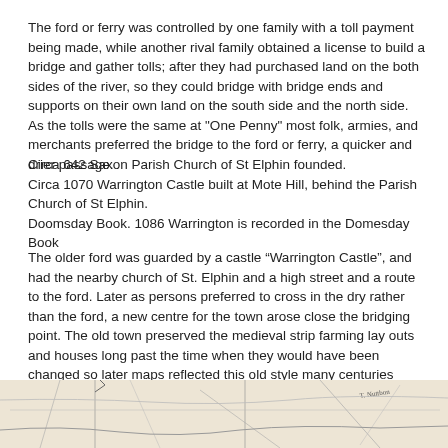The ford or ferry was controlled by one family with a toll payment being made, while another rival family obtained a license to build a bridge and gather tolls; after they had purchased land on the both sides of the river, so they could bridge with bridge ends and supports on their own land on the south side and the north side. As the tolls were the same at "One Penny" most folk, armies, and merchants preferred the bridge to the ford or ferry, a quicker and drier passage.
Circa 642 Saxon Parish Church of St Elphin founded.
Circa 1070 Warrington Castle built at Mote Hill, behind the Parish Church of St Elphin.
Doomsday Book. 1086 Warrington is recorded in the Domesday Book
The older ford was guarded by a castle “Warrington Castle”, and had the nearby church of St. Elphin and a high street and a route to the ford. Later as persons preferred to cross in the dry rather than the ford, a new centre for the town arose close the bridging point. The old town preserved the medieval strip farming lay outs and houses long past the time when they would have been changed so later maps reflected this old style many centuries later, as the wealthy and industrial folk had ‘moved’ to the new centre based on the bridge position.
[Figure (map): Partial view of a historical map showing lines and handwritten text, partially visible at the bottom of the page.]